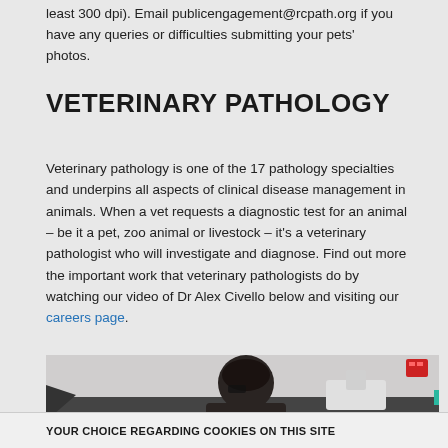least 300 dpi). Email publicengagement@rcpath.org if you have any queries or difficulties submitting your pets' photos.
VETERINARY PATHOLOGY
Veterinary pathology is one of the 17 pathology specialties and underpins all aspects of clinical disease management in animals. When a vet requests a diagnostic test for an animal – be it a pet, zoo animal or livestock – it's a veterinary pathologist who will investigate and diagnose. Find out more the important work that veterinary pathologists do by watching our video of Dr Alex Civello below and visiting our careers page.
[Figure (photo): A person looking through a microscope in a laboratory setting, with a red alarm/indicator box visible in the upper right corner of the image.]
YOUR CHOICE REGARDING COOKIES ON THIS SITE